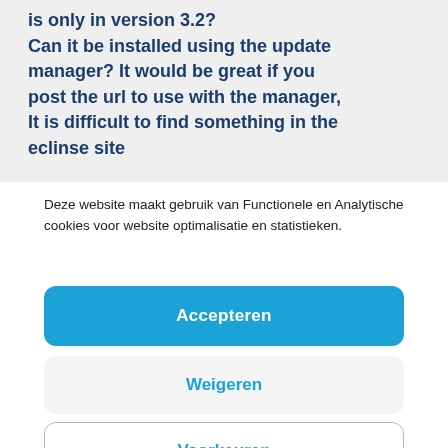is only in version 3.2? Can it be installed using the update manager? It would be great if you post the url to use with the manager, It is difficult to find something in the eclipse site
Deze website maakt gebruik van Functionele en Analytische cookies voor website optimalisatie en statistieken.
Accepteren
Weigeren
Voorkeuren
Cookiebeleid  Privacyverklaring